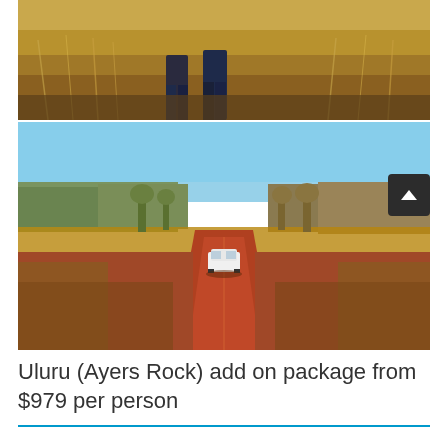[Figure (photo): Top portion of a photo showing two people standing in tall dry golden grass in an Australian outback setting, only their lower halves visible.]
[Figure (photo): Photo of a red dirt outback road stretching into the distance with a white 4WD vehicle driving towards the camera, flanked by sparse desert trees and shrubs under a clear blue sky.]
Uluru (Ayers Rock) add on package from $979 per person